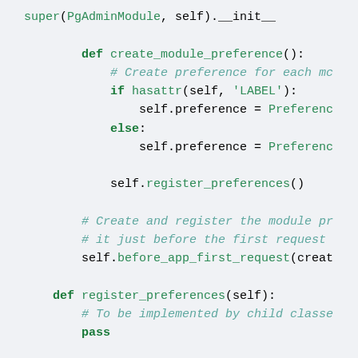super(PgAdminModule, self).__init__

    def create_module_preference():
        # Create preference for each mc
        if hasattr(self, 'LABEL'):
            self.preference = Preferenc
        else:
            self.preference = Preferenc

        self.register_preferences()

    # Create and register the module pr
    # it just before the first request
    self.before_app_first_request(creat

def register_preferences(self):
    # To be implemented by child classe
    pass

def register(self, app, options):
    """